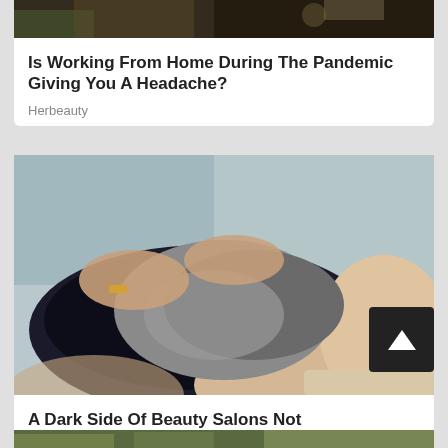[Figure (photo): Partial top image of a home/plant scene, cropped at top of page]
Is Working From Home During The Pandemic Giving You A Headache?
Herbeauty
[Figure (photo): Woman having her hair washed at a salon sink, eyes closed, hands massaging gray/silver hair]
A Dark Side Of Beauty Salons Not Many People Know About
Herbeauty
[Figure (photo): Partial bottom image, appears to show an outdoor/nature scene]